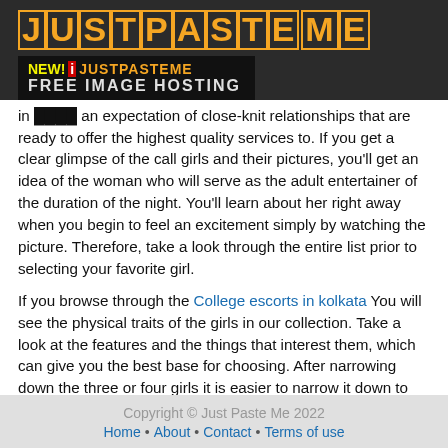[Figure (logo): JustPasteMe logo in orange block letters on dark background, with a banner ad for 'NEW! JustPasteMe FREE IMAGE HOSTING']
in ... an expectation of close-knit relationships that are ready to offer the highest quality services to. If you get a clear glimpse of the call girls and their pictures, you'll get an idea of the woman who will serve as the adult entertainer of the duration of the night. You'll learn about her right away when you begin to feel an excitement simply by watching the picture. Therefore, take a look through the entire list prior to selecting your favorite girl.
If you browse through the College escorts in kolkata You will see the physical traits of the girls in our collection. Take a look at the features and the things that interest them, which can give you the best base for choosing. After narrowing down the three or four girls it is easier to narrow it down to just one girl.
If you're missing your spouse and are looking for the most
Copyright © Just Paste Me 2022
Home • About • Contact • Terms of use